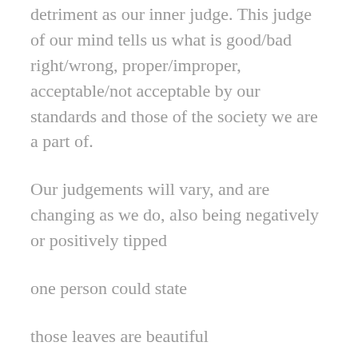detriment as our inner judge. This judge of our mind tells us what is good/bad right/wrong, proper/improper, acceptable/not acceptable by our standards and those of the society we are a part of.
Our judgements will vary, and are changing as we do, also being negatively or positively tipped
one person could state
those leaves are beautiful